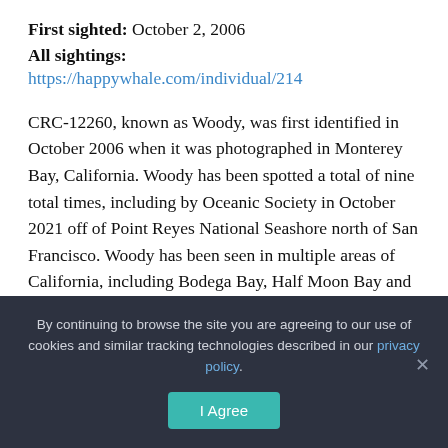First sighted: October 2, 2006
All sightings:
https://happywhale.com/individual/214
CRC-12260, known as Woody, was first identified in October 2006 when it was photographed in Monterey Bay, California. Woody has been spotted a total of nine total times, including by Oceanic Society in October 2021 off of Point Reyes National Seashore north of San Francisco. Woody has been seen in multiple areas of California, including Bodega Bay, Half Moon Bay and off of San Francisco. This beautiful humpback whale has dark, rounded flukes that are
By continuing to browse the site you are agreeing to our use of cookies and similar tracking technologies described in our privacy policy.
I Agree